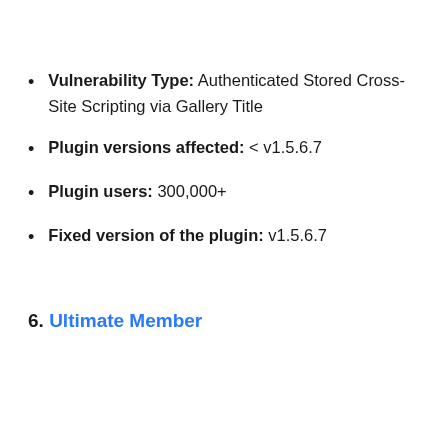Vulnerability Type: Authenticated Stored Cross-Site Scripting via Gallery Title
Plugin versions affected: < v1.5.6.7
Plugin users: 300,000+
Fixed version of the plugin: v1.5.6.7
6. Ultimate Member